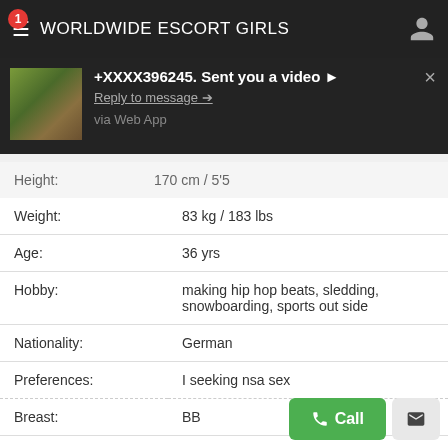WORLDWIDE ESCORT GIRLS
[Figure (screenshot): Mobile app notification popup showing: +XXXX396245. Sent you a video ▶ / Reply to message ➜ / via Web App]
| Field | Value |
| --- | --- |
| Height: | 170 cm / 5'5 |
| Weight: | 83 kg / 183 lbs |
| Age: | 36 yrs |
| Hobby: | making hip hop beats, sledding, snowboarding, sports out side |
| Nationality: | German |
| Preferences: | I seeking nsa sex |
| Breast: | BB |
| Eye color: | vihreä |
| Perfumes: | Alford & Hoff |